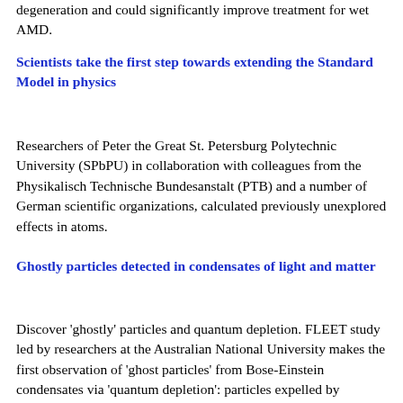degeneration and could significantly improve treatment for wet AMD.
Scientists take the first step towards extending the Standard Model in physics
Researchers of Peter the Great St. Petersburg Polytechnic University (SPbPU) in collaboration with colleagues from the Physikalisch Technische Bundesanstalt (PTB) and a number of German scientific organizations, calculated previously unexplored effects in atoms.
Ghostly particles detected in condensates of light and matter
Discover 'ghostly' particles and quantum depletion. FLEET study led by researchers at the Australian National University makes the first observation of 'ghost particles' from Bose-Einstein condensates via 'quantum depletion': particles expelled by interaction-induced quantum fluctuations.